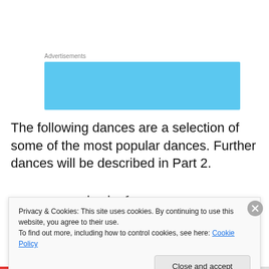[Figure (other): Advertisements banner – light blue rectangle with 'Advertisements' label above]
The following dances are a selection of some of the most popular dances. Further dances will be described in Part 2.
Khevsuruli (ხევსურული) – This energetic mountain
dance conveys love, courage, and respect for women
Privacy & Cookies: This site uses cookies. By continuing to use this website, you agree to their use.
To find out more, including how to control cookies, see here: Cookie Policy
Close and accept